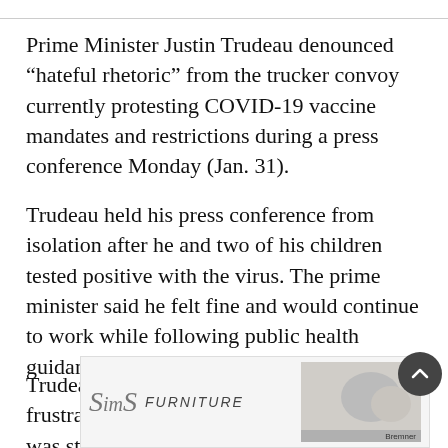Prime Minister Justin Trudeau denounced “hateful rhetoric” from the trucker convoy currently protesting COVID-19 vaccine mandates and restrictions during a press conference Monday (Jan. 31).
Trudeau held his press conference from isolation after he and two of his children tested positive with the virus. The prime minister said he felt fine and would continue to work while following public health guidance.
Trudeau said he understood that it was frustrating for all Canadians that COVID-19 was still affecting their lives to such a great degree nearly two years into the pandemic but
[Figure (other): Advertisement banner for Sims Furniture with script logo and photo of furniture/people on right, Bremner label visible]